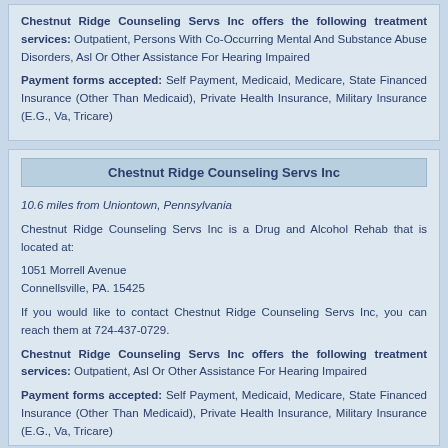Chestnut Ridge Counseling Servs Inc offers the following treatment services: Outpatient, Persons With Co-Occurring Mental And Substance Abuse Disorders, Asl Or Other Assistance For Hearing Impaired
Payment forms accepted: Self Payment, Medicaid, Medicare, State Financed Insurance (Other Than Medicaid), Private Health Insurance, Military Insurance (E.G., Va, Tricare)
Chestnut Ridge Counseling Servs Inc
10.6 miles from Uniontown, Pennsylvania
Chestnut Ridge Counseling Servs Inc is a Drug and Alcohol Rehab that is located at:

1051 Morrell Avenue
Connellsville, PA. 15425

If you would like to contact Chestnut Ridge Counseling Servs Inc, you can reach them at 724-437-0729.

Chestnut Ridge Counseling Servs Inc offers the following treatment services: Outpatient, Asl Or Other Assistance For Hearing Impaired
Payment forms accepted: Self Payment, Medicaid, Medicare, State Financed Insurance (Other Than Medicaid), Private Health Insurance, Military Insurance (E.G., Va, Tricare)